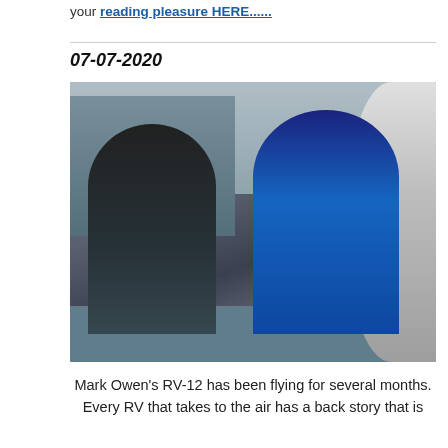your reading pleasure HERE......
07-07-2020
[Figure (photo): Two people seated in the open cockpit of a small RV-12 aircraft on a tarmac in front of a hangar. The person in the foreground (right seat) is smiling at the camera, wearing a cap and dark jacket with a harness. The person in the background (left seat) is wearing a black jacket and aviation headset.]
Mark Owen's RV-12 has been flying for several months. Every RV that takes to the air has a back story that is